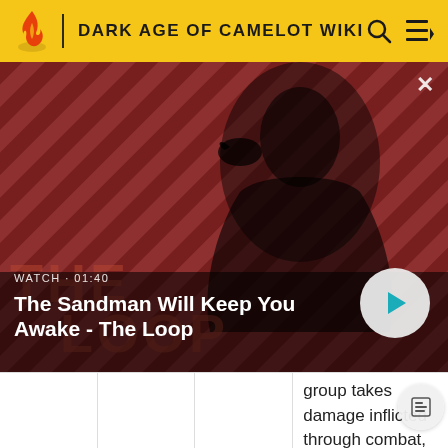DARK AGE OF CAMELOT WIKI
[Figure (screenshot): Video banner thumbnail showing a dark-clothed figure with a raven on shoulder against a red and black diagonal striped background, with 'THE LOOP' text overlay. Video title overlay: 'WATCH · 01:40 / The Sandman Will Keep You Awake - The Loop' with a play button.]
group takes damage inflicted through combat, they will be immediately